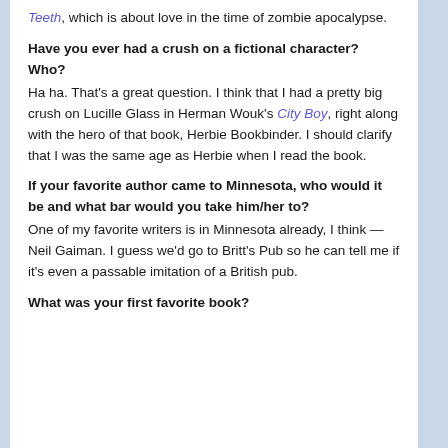Teeth, which is about love in the time of zombie apocalypse.
Have you ever had a crush on a fictional character? Who?
Ha ha. That's a great question. I think that I had a pretty big crush on Lucille Glass in Herman Wouk's City Boy, right along with the hero of that book, Herbie Bookbinder. I should clarify that I was the same age as Herbie when I read the book.
If your favorite author came to Minnesota, who would it be and what bar would you take him/her to?
One of my favorite writers is in Minnesota already, I think — Neil Gaiman. I guess we'd go to Britt's Pub so he can tell me if it's even a passable imitation of a British pub.
What was your first favorite book?